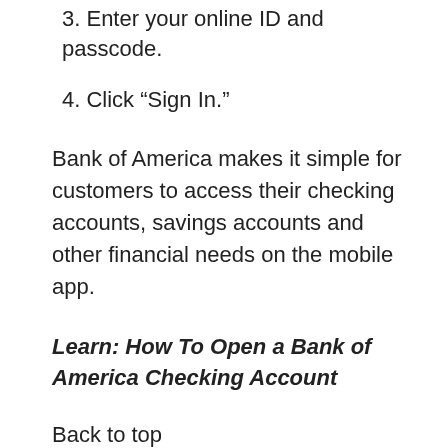3. Enter your online ID and passcode.
4. Click “Sign In.”
Bank of America makes it simple for customers to access their checking accounts, savings accounts and other financial needs on the mobile app.
Learn: How To Open a Bank of America Checking Account
Back to top
How To Retrieve a Forgotten Username or Password